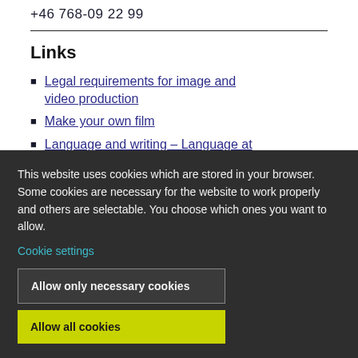+46 768-09 22 99
Links
Legal requirements for image and video production
Make your own film
Language and writing – Language at
This website uses cookies which are stored in your browser. Some cookies are necessary for the website to work properly and others are selectable. You choose which ones you want to allow.
Cookie settings
Allow only necessary cookies
Allow all cookies